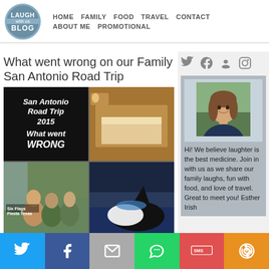[Figure (logo): Laugh With Us Blog circular logo in steel blue]
HOME   FAMILY   FOOD   TRAVEL   CONTACT   ABOUT ME   PROMOTIONAL
What went wrong on our Family San Antonio Road Trip
[Figure (photo): Collage of 4 photos: text panel 'San Antonio Road Trip 2015 What went WRONG', hotel room top, Six Flags Fiesta Texas girls photo, hotel/TV room, orca at SeaWorld]
[Figure (photo): Social media icons: Facebook, Twitter, Pinterest, Instagram]
[Figure (photo): Author photo: woman smiling outdoors]
Hi! We believe laughter is the best medicine. Join in with us as we share our family laughs, fun with food, and love of travel. Great to meet you! Esther Irish
[Figure (infographic): Bottom share bar with Twitter, Facebook, Email, WhatsApp, SMS, More buttons]